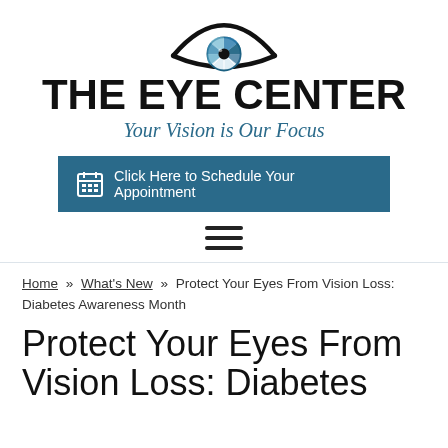[Figure (logo): The Eye Center logo with stylized eye graphic above the text]
THE EYE CENTER
Your Vision is Our Focus
Click Here to Schedule Your Appointment
Home » What's New » Protect Your Eyes From Vision Loss: Diabetes Awareness Month
Protect Your Eyes From Vision Loss: Diabetes